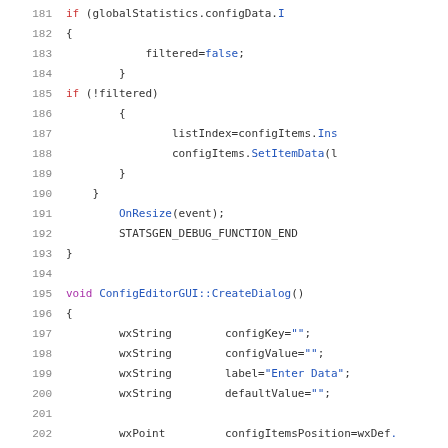Source code listing lines 181-202, C++ code for ConfigEditorGUI
181    if (globalStatistics.configData.I
182    {
183        filtered=false;
184    }
185    if (!filtered)
186    {
187        listIndex=configItems.Ins
188        configItems.SetItemData(l
189    }
190    }
191    OnResize(event);
192    STATSGEN_DEBUG_FUNCTION_END
193 }
194
195 void ConfigEditorGUI::CreateDialog()
196 {
197    wxString    configKey="";
198    wxString    configValue="";
199    wxString    label="Enter Data";
200    wxString    defaultValue="";
201
202    wxPoint    configItemsPosition=wxDef